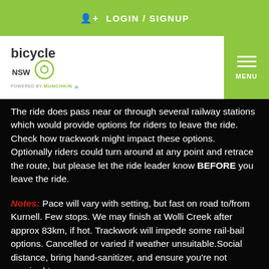LOGIN / SIGNUP
[Figure (logo): Bicycle NSW logo with circular icon and 'powered by' text beneath]
The ride does pass near or through several railway stations which would provide options for riders to leave the ride. Check how trackwork might impact these options. Optionally riders could turn around at any point and retrace the route, but please let the ride leader know BEFORE you leave the ride.
Notes: Pace will vary with setting, but fast on road to/from Kurnell. Few stops. We may finish at Wolli Creek after approx 83km, if hot. Trackwork will impede some rail-bail options. Cancelled or varied if weather unsuitable.Social distance, bring hand-sanitizer, and ensure you're not required to